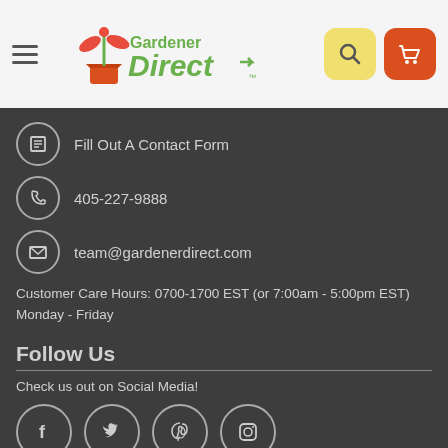[Figure (logo): Gardener Direct logo with plant illustration]
Fill Out A Contact Form
405-227-9888
team@gardenerdirect.com
Customer Care Hours: 0700-1700 EST (or 7:00am - 5:00pm EST)
Monday - Friday
Follow Us
Check us out on Social Media!
[Figure (illustration): Social media icons: Facebook, Twitter, Pinterest, Instagram]
Payments